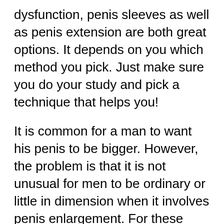dysfunction, penis sleeves as well as penis extension are both great options. It depends on you which method you pick. Just make sure you do your study and pick a technique that helps you!
It is common for a man to want his penis to be bigger. However, the problem is that it is not unusual for men to be ordinary or little in dimension when it involves penis enlargement. For these men, research has verified that a lot of men who worry themselves with their penises are typical or little in size. There still is a widely-spread false impression that a larger penis is required for better sex-related enjoyment.
How Do You Grow Your Dick